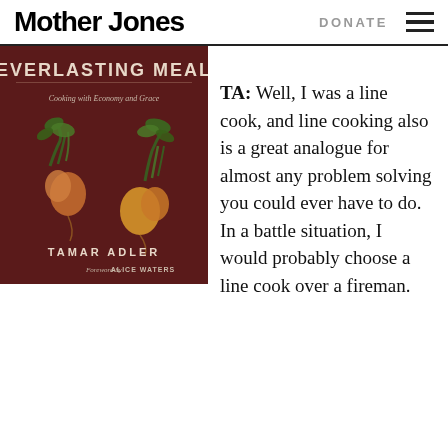Mother Jones | DONATE
[Figure (photo): Book cover of 'An Everlasting Meal: Cooking with Economy and Grace' by Tamar Adler, Foreword by Alice Waters. Dark red/maroon background with vegetables (radishes with greens).]
TA: Well, I was a line cook, and line cooking also is a great analogue for almost any problem solving you could ever have to do. In a battle situation, I would probably choose a line cook over a fireman.